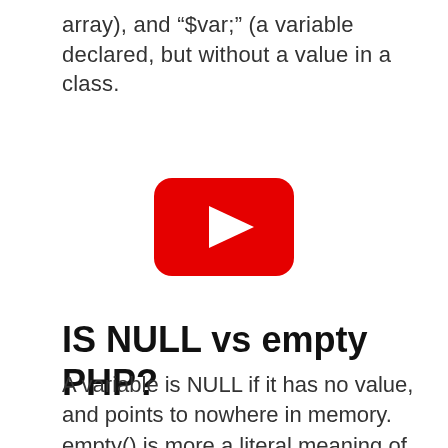array), and "$var;" (a variable declared, but without a value in a class.
[Figure (other): YouTube play button icon — red rounded rectangle with white triangle play arrow in the center]
IS NULL vs empty PHP?
A variable is NULL if it has no value, and points to nowhere in memory. empty() is more a literal meaning of empty, e.g. the string "" is empty, but is not NULL .